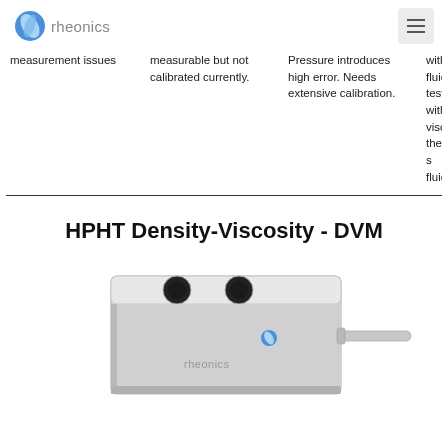rheonics
| measurement issues | measurable but not calibrated currently. | Pressure introduces high error. Needs extensive calibration. | with fluid test with viscosity the same fluid |
HPHT Density-Viscosity - DVM
[Figure (photo): Rheonics HPHT Density-Viscosity DVM sensor device - a silver/grey metallic box-shaped instrument with two circular ports on top and a rod/probe extending from the side, with the rheonics logo visible on the front face.]